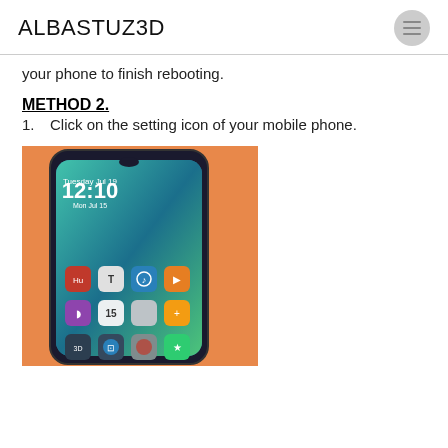ALBASTUZ3D
your phone to finish rebooting.
METHOD 2.
1. Click on the setting icon of your mobile phone.
[Figure (photo): A Huawei smartphone showing the home screen with a lock screen time of 12:10, Monday July 15, and various app icons including music, video, calendar, and others, placed against an orange background.]